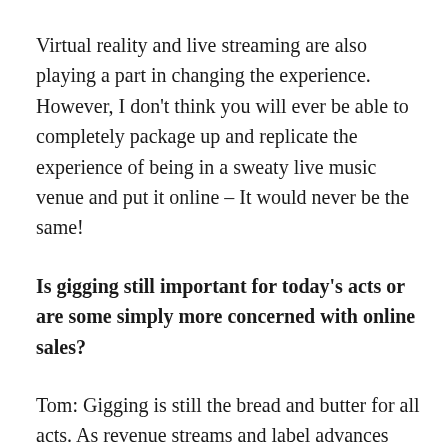Virtual reality and live streaming are also playing a part in changing the experience. However, I don't think you will ever be able to completely package up and replicate the experience of being in a sweaty live music venue and put it online – It would never be the same!
Is gigging still important for today's acts or are some simply more concerned with online sales?
Tom: Gigging is still the bread and butter for all acts. As revenue streams and label advances